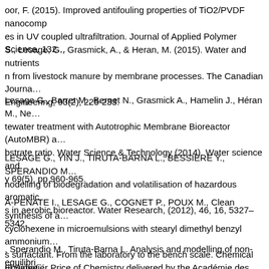oor, F. (2015). Improved antifouling properties of TiO2/PVDF nanocomposites in UV coupled ultrafiltration. Journal of Applied Polymer Science, 132…
S., Lesage, G., Grasmick, A., & Heran, M. (2015). Water and nutrients from livestock manure by membrane processes. The Canadian Journal of Engineering, 93(2), 225-233.
Lesage G., Barret M., Bernet N., Grasmick A., Hamelin J., Héran M., Ne… tewater treatment with Autotrophic Membrane Bioreactor (AutoMBR) a… bstrate ratio. Water Science & Technology (2014). Water science and y 69(5), pp 960-965.
LESAGE G., YIN J., TIRUTA-BARNA L., BESSIERE Y., SPERANDIO M… modelling of biodegradation and volatilisation of hazardous aromatic s in aerobic bioreactor. Water Research, (2012), 46, 16, 5327–5342.
A-PENATE I., LESAGE G., COGNET P., POUX M., Clean synthesis of a… cyclohexene in microemulsions with stearyl dimethyl benzyl ammonium… s surfactant. From the laboratory to the bench scale. Chemical Engineering… 2012), 200-202, 357–364.
, Sperandio M., Tiruta-Barna L. Analysis and modelling of non-equilibrium… f aromatic micro-pollutants on GAC with a multi-compartment dynamic… Chemical Engineering Journal, Volume 160, Issue 2, June 2010, pp. 457-…
ul Sabatier Price of Chemistry delivered by the Académie des Sciences…